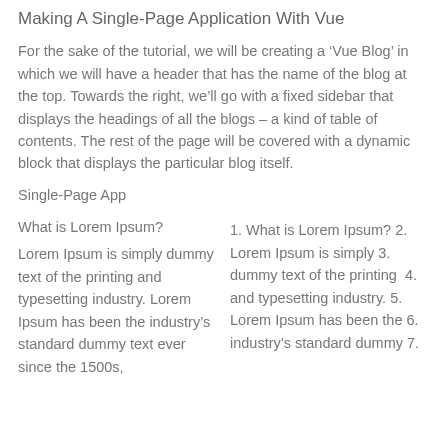Making A Single-Page Application With Vue
For the sake of the tutorial, we will be creating a ‘Vue Blog’ in which we will have a header that has the name of the blog at the top. Towards the right, we’ll go with a fixed sidebar that displays the headings of all the blogs – a kind of table of contents. The rest of the page will be covered with a dynamic block that displays the particular blog itself.
Single-Page App
What is Lorem Ipsum?
Lorem Ipsum is simply dummy text of the printing and typesetting industry. Lorem Ipsum has been the industry’s standard dummy text ever since the 1500s,
1. What is Lorem Ipsum? 2. Lorem Ipsum is simply 3. dummy text of the printing  4. and typesetting industry. 5. Lorem Ipsum has been the 6. industry’s standard dummy 7.